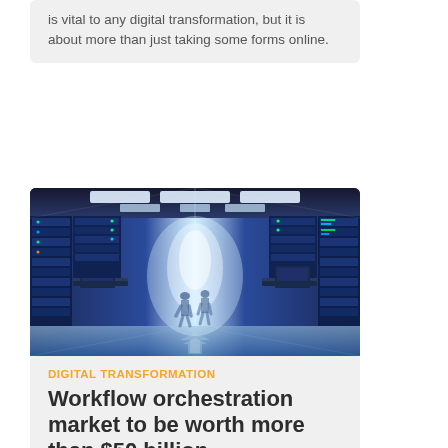is vital to any digital transformation, but it is about more than just taking some forms online.
[Figure (photo): Interior of a modern data center with rows of server racks illuminated in blue light, with two silhouetted figures walking in the aisle between the racks. Overhead fluorescent lighting panels and reflective floor visible.]
DIGITAL TRANSFORMATION
Workflow orchestration market to be worth more than $50 billion
The workflow orchestration market is